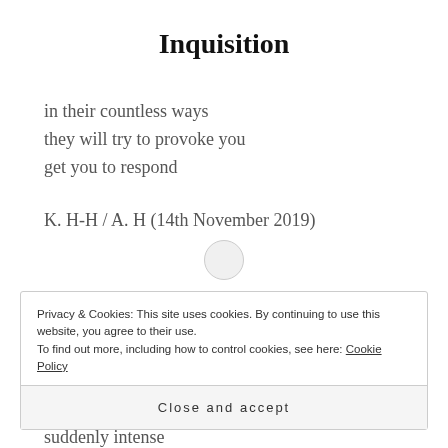Inquisition
in their countless ways
they will try to provoke you
get you to respond
K. H-H / A. H (14th November 2019)
Privacy & Cookies: This site uses cookies. By continuing to use this website, you agree to their use.
To find out more, including how to control cookies, see here: Cookie Policy
Close and accept
suddenly intense